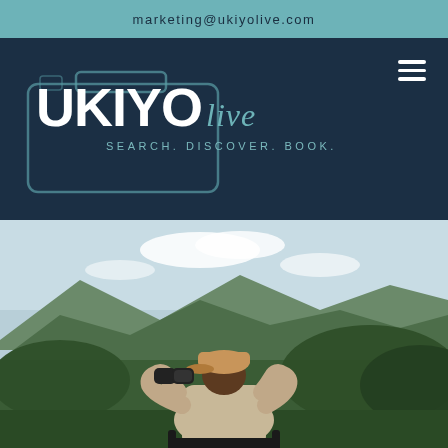marketing@ukiyolive.com
[Figure (logo): Ukiyo Live logo with camera frame outline, bold UKIYO text in white, italic 'live' in teal, tagline SEARCH. DISCOVER. BOOK. Hamburger menu icon top right on dark navy background.]
[Figure (photo): Person wearing a tan cap and khaki shirt seen from behind, looking through binoculars at a lush green hilly landscape under a light sky.]